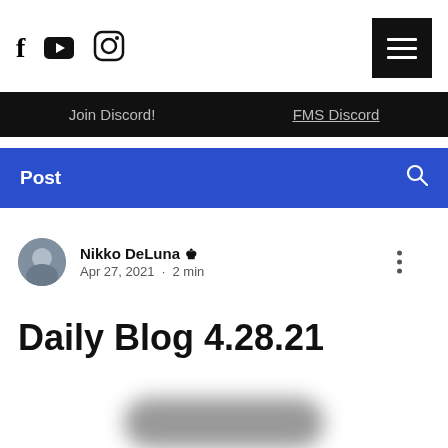Social icons (Facebook, YouTube, Instagram) and hamburger menu
Join Discord! | FMS Discord
Post
Nikko DeLuna · Apr 27, 2021 · 2 min
Daily Blog 4.28.21